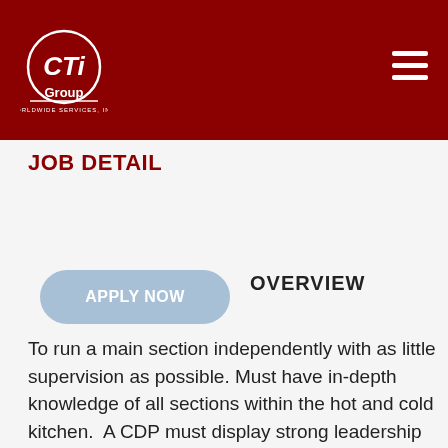CTi Group Worldwide Services, Inc. — navigation header with logo and hamburger menu
JOB DETAIL
APPLY NOW
OVERVIEW
To run a main section independently with as little supervision as possible. Must have in-depth knowledge of all sections within the hot and cold kitchen.  A CDP must display strong leadership skills and